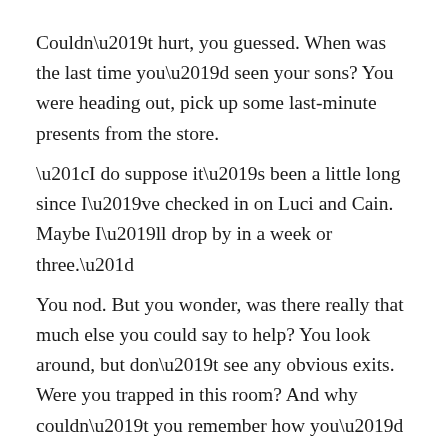Couldn't hurt, you guessed. When was the last time you'd seen your sons? You were heading out, pick up some last-minute presents from the store.
“I do suppose it’s been a little long since I’ve checked in on Luci and Cain. Maybe I’ll drop by in a week or three.”
You nod. But you wonder, was there really that much else you could say to help? You look around, but don’t see any obvious exits. Were you trapped in this room? And why couldn’t you remember how you’d gotten there…
“Right, right, sorry for not explaining everything–” Anything. He hasn’t explained anything.
“Sorry for not explaining anything. And I’m sorry for dumping all this on you. I just wanted to get it off my